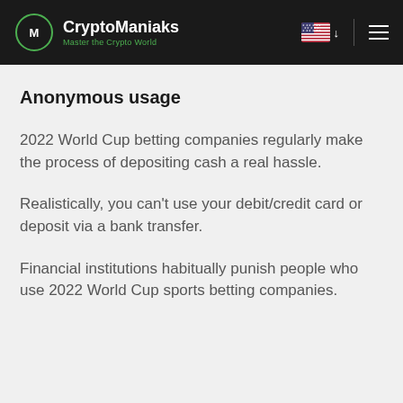CryptoManiaks — Master the Crypto World
Anonymous usage
2022 World Cup betting companies regularly make the process of depositing cash a real hassle.
Realistically, you can't use your debit/credit card or deposit via a bank transfer.
Financial institutions habitually punish people who use 2022 World Cup sports betting companies.